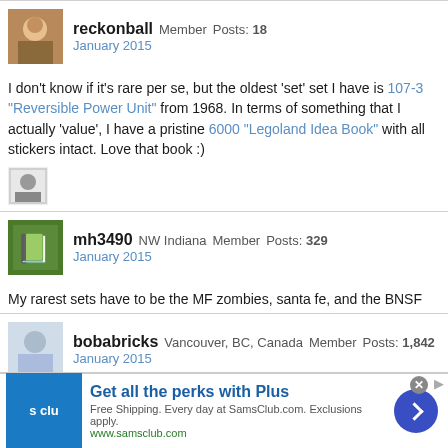reckonball Member Posts: 18
January 2015
I don't know if it's rare per se, but the oldest 'set' set I have is 107-3 "Reversible Power Unit" from 1968. In terms of something that I actually 'value', I have a pristine 6000 "Legoland Idea Book" with all stickers intact. Love that book :)
[Figure (illustration): Small emoji/reaction image]
mh3490 NW Indiana Member Posts: 329
January 2015
My rarest sets have to be the MF zombies, santa fe, and the BNSF
bobabricks Vancouver, BC, Canada Member Posts: 1,842
January 2015
[Figure (infographic): Sam's Club advertisement: Get all the perks with Plus. Free Shipping. Every day at SamsClub.com. Exclusions apply. www.samsclub.com]